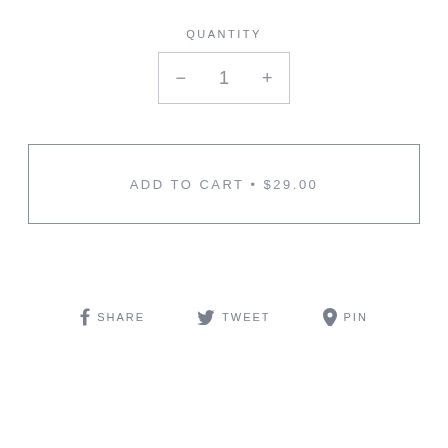QUANTITY
- 1 +
ADD TO CART • $29.00
f SHARE   🐦 TWEET   𝗣 PIN